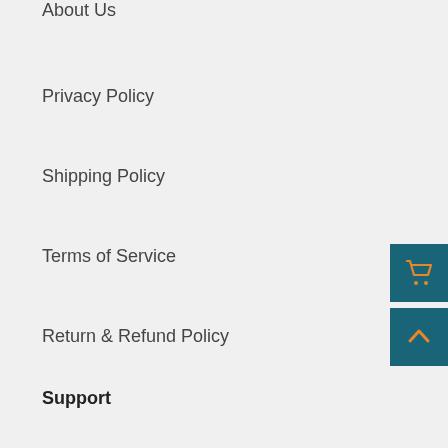About Us
Privacy Policy
Shipping Policy
Terms of Service
Return & Refund Policy
Support
Search
Contact Us